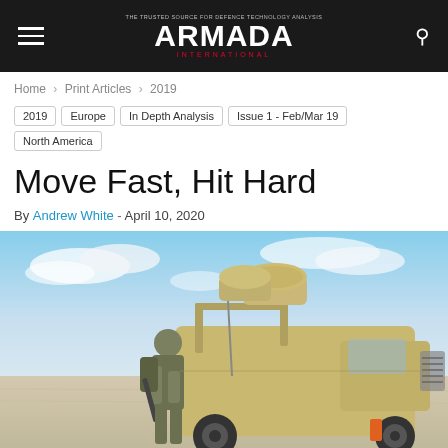THE TRUSTED SOURCE FOR DEFENCE TECHNOLOGY ANALYSIS ARMADA INTERNATIONAL
Home › Print Articles › 2019
2019
Europe
In Depth Analysis
Issue 1 - Feb/Mar 19
North America
Move Fast, Hit Hard
By Andrew White - April 10, 2020
[Figure (photo): A soldier in desert camouflage gear standing beside a tan military off-road vehicle equipped with large cylindrical sensors/launchers on top, in a dry desert landscape with blue sky and clouds.]